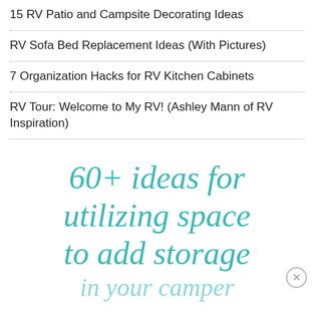15 RV Patio and Campsite Decorating Ideas
RV Sofa Bed Replacement Ideas (With Pictures)
7 Organization Hacks for RV Kitchen Cabinets
RV Tour: Welcome to My RV! (Ashley Mann of RV Inspiration)
[Figure (infographic): Promotional text in teal italic serif font reading '60+ ideas for utilizing space to add storage in your camper' with a close button in the bottom right corner.]